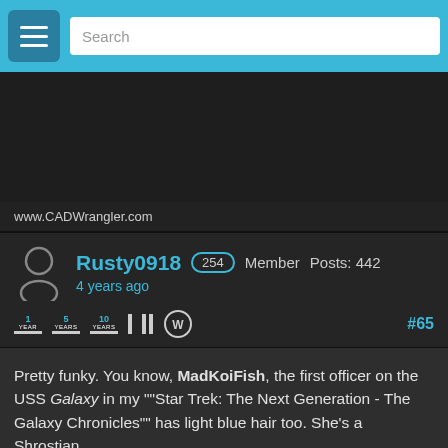[Figure (screenshot): Top navigation bar with hamburger menu and search box on cyan/blue background]
[Figure (screenshot): Dark banner area (advertisement or header image placeholder)]
www.CADWrangler.com
Rusty0918  254  Member  Posts: 442  4 years ago  #65
Pretty funky. You know, MadKoiFish, the first officer on the USS Galaxy in my ""Star Trek: The Next Generation - The Galaxy Chronicles"" has light blue hair too. She's a Shrostian.
« 1 2 3 »